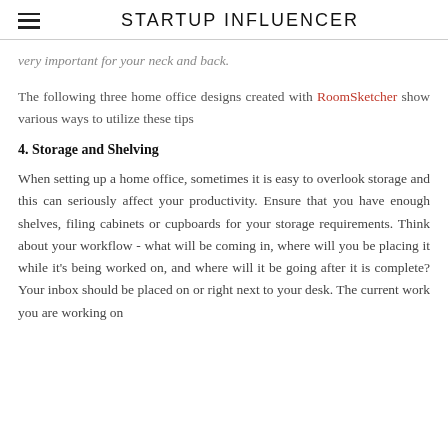STARTUP INFLUENCER
very important for your neck and back.
The following three home office designs created with RoomSketcher show various ways to utilize these tips
4. Storage and Shelving
When setting up a home office, sometimes it is easy to overlook storage and this can seriously affect your productivity. Ensure that you have enough shelves, filing cabinets or cupboards for your storage requirements. Think about your workflow - what will be coming in, where will you be placing it while it's being worked on, and where will it be going after it is complete? Your inbox should be placed on or right next to your desk. The current work you are working on should be placed nearby. Your filing